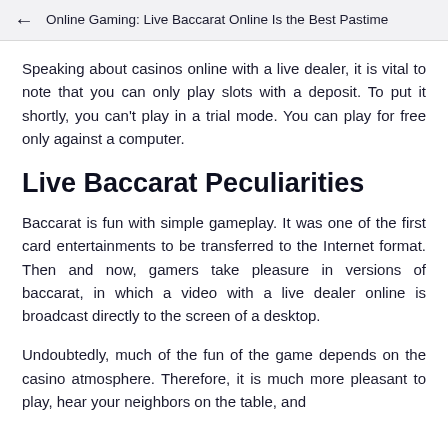Online Gaming: Live Baccarat Online Is the Best Pastime
Speaking about casinos online with a live dealer, it is vital to note that you can only play slots with a deposit. To put it shortly, you can't play in a trial mode. You can play for free only against a computer.
Live Baccarat Peculiarities
Baccarat is fun with simple gameplay. It was one of the first card entertainments to be transferred to the Internet format. Then and now, gamers take pleasure in versions of baccarat, in which a video with a live dealer online is broadcast directly to the screen of a desktop.
Undoubtedly, much of the fun of the game depends on the casino atmosphere. Therefore, it is much more pleasant to play, hear your neighbors on the table, and